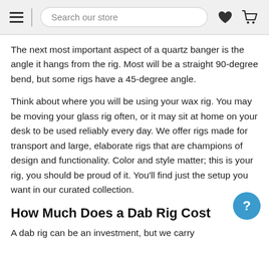Search our store
The next most important aspect of a quartz banger is the angle it hangs from the rig. Most will be a straight 90-degree bend, but some rigs have a 45-degree angle.
Think about where you will be using your wax rig. You may be moving your glass rig often, or it may sit at home on your desk to be used reliably every day. We offer rigs made for transport and large, elaborate rigs that are champions of design and functionality. Color and style matter; this is your rig, you should be proud of it. You'll find just the setup you want in our curated collection.
How Much Does a Dab Rig Cost
A dab rig can be an investment, but we carry